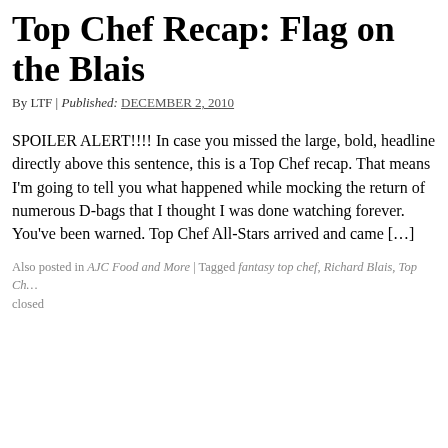Top Chef Recap: Flag on the Blais
By LTF | Published: DECEMBER 2, 2010
SPOILER ALERT!!!! In case you missed the large, bold, headline directly above this sentence, this is a Top Chef recap. That means I'm going to tell you what happened while mocking the return of numerous D-bags that I thought I was done watching forever. You've been warned. Top Chef All-Stars arrived and came […]
Also posted in AJC Food and More | Tagged fantasy top chef, Richard Blais, Top Ch… closed